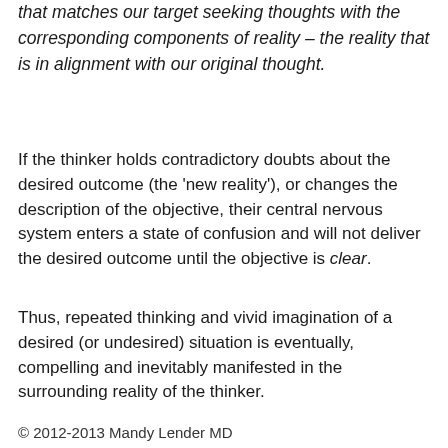that matches our target seeking thoughts with the corresponding components of reality – the reality that is in alignment with our original thought.
If the thinker holds contradictory doubts about the desired outcome (the 'new reality'), or changes the description of the objective, their central nervous system enters a state of confusion and will not deliver the desired outcome until the objective is clear.
Thus, repeated thinking and vivid imagination of a desired (or undesired) situation is eventually, compelling and inevitably manifested in the surrounding reality of the thinker.
© 2012-2013 Mandy Lender MD